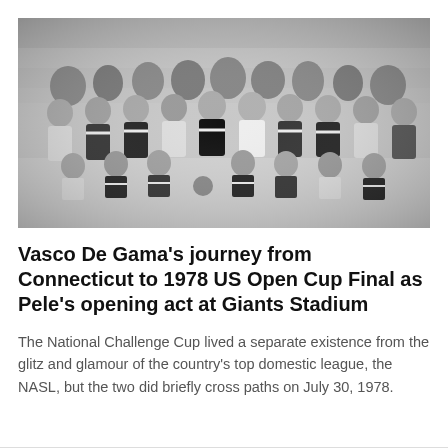[Figure (photo): Black and white team photo of the Vasco De Gama soccer club, showing two rows of players posing together, some standing and some kneeling or crouching in front.]
Vasco De Gama's journey from Connecticut to 1978 US Open Cup Final as Pele's opening act at Giants Stadium
The National Challenge Cup lived a separate existence from the glitz and glamour of the country's top domestic league, the NASL, but the two did briefly cross paths on July 30, 1978.